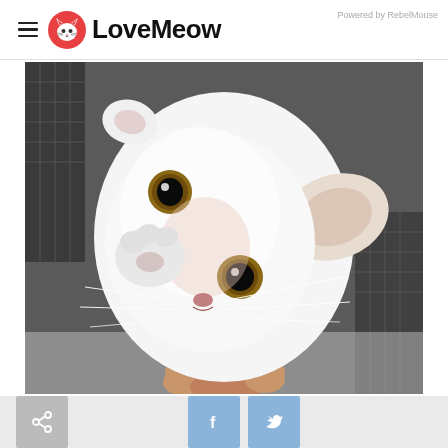LoveMeow — Powered by RebelMouse
[Figure (photo): Close-up photo of a white kitten with large brown eyes, tilted sideways, raising one paw toward the camera. A human hand is visible holding the kitten from below. Background shows dark mesh/cage and blurred surroundings.]
[Figure (other): Social sharing bar with share icon, Facebook button, and Twitter button]